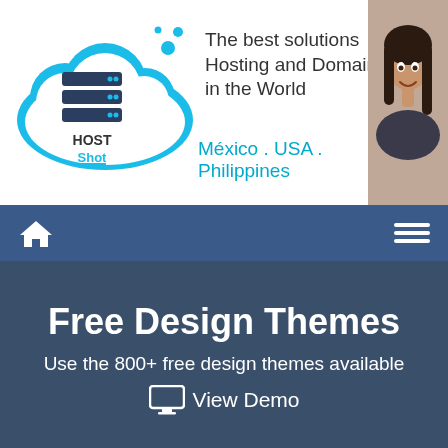[Figure (logo): HostShot cloud logo with server stack icon and HOST Shot text]
The best solutions Hosting and Domains in the World
México . USA . Philippines
[Figure (illustration): Woman smiling, photo in top right corner of header]
[Figure (illustration): Navigation bar with home icon and hamburger menu on dark blue background]
Free Design Themes
Use the 800+ free design themes available
🖥 View Demo
[Figure (screenshot): Partial thumbnail strip of website design themes at bottom]
Our site uses cookies. By proceeding to browse the site you are agreeing to our usage of cookies. Find out more here.